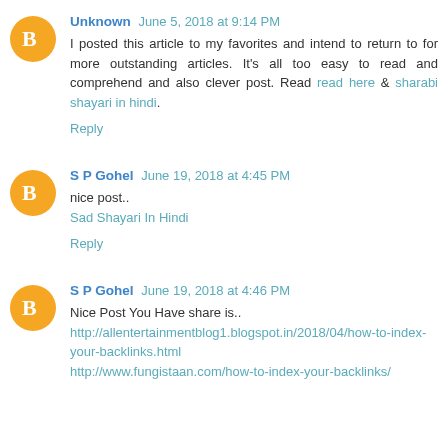Unknown June 5, 2018 at 9:14 PM
I posted this article to my favorites and intend to return to for more outstanding articles. It's all too easy to read and comprehend and also clever post. Read read here & sharabi shayari in hindi.
Reply
S P Gohel June 19, 2018 at 4:45 PM
nice post..
Sad Shayari In Hindi
Reply
S P Gohel June 19, 2018 at 4:46 PM
Nice Post You Have share is..
http://allentertainmentblog1.blogspot.in/2018/04/how-to-index-your-backlinks.html
http://www.fungistaan.com/how-to-index-your-backlinks/